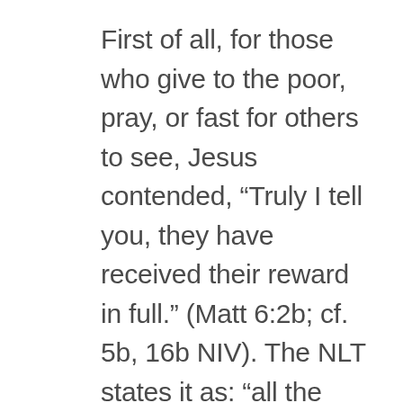First of all, for those who give to the poor, pray, or fast for others to see, Jesus contended, “Truly I tell you, they have received their reward in full.” (Matt 6:2b; cf. 5b, 16b NIV). The NLT states it as: “all the reward they will ever get.”
This phrase employs